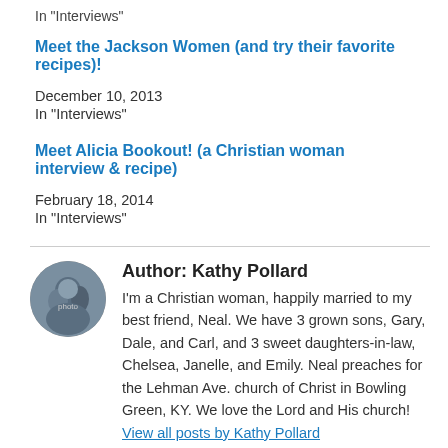In "Interviews"
Meet the Jackson Women (and try their favorite recipes)!
December 10, 2013
In "Interviews"
Meet Alicia Bookout! (a Christian woman interview & recipe)
February 18, 2014
In "Interviews"
Author: Kathy Pollard
I'm a Christian woman, happily married to my best friend, Neal. We have 3 grown sons, Gary, Dale, and Carl, and 3 sweet daughters-in-law, Chelsea, Janelle, and Emily. Neal preaches for the Lehman Ave. church of Christ in Bowling Green, KY. We love the Lord and His church! View all posts by Kathy Pollard